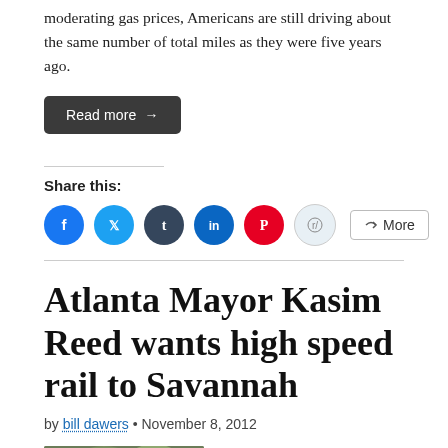moderating gas prices, Americans are still driving about the same number of total miles as they were five years ago.
Read more →
Share this:
[Figure (other): Social sharing icons: Facebook, Twitter, Tumblr, LinkedIn, Pinterest, Reddit, and a More button]
Atlanta Mayor Kasim Reed wants high speed rail to Savannah
by bill dawers • November 8, 2012
[Figure (photo): Outdoor photo with trees and a person wearing a hat]
I first spotted this at Peach Pundit, but here's Maria Saporta in Atlanta Mayor